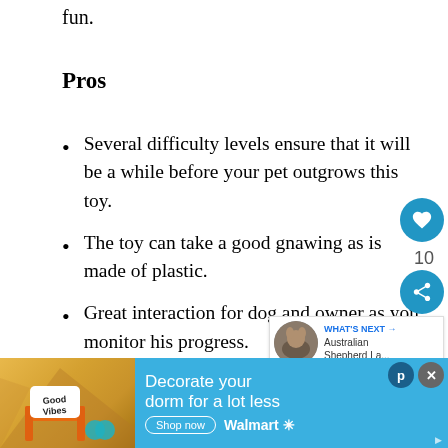fun.
Pros
Several difficulty levels ensure that it will be a while before your pet outgrows this toy.
The toy can take a good gnawing as is made of plastic.
Great interaction for dog and owner as you monitor his progress.
[Figure (screenshot): Advertisement banner for Walmart showing a dorm room decoration promotion with 'Decorate your dorm for a lot less' text and Shop now button]
WHAT'S NEXT → Australian Shepherd La...